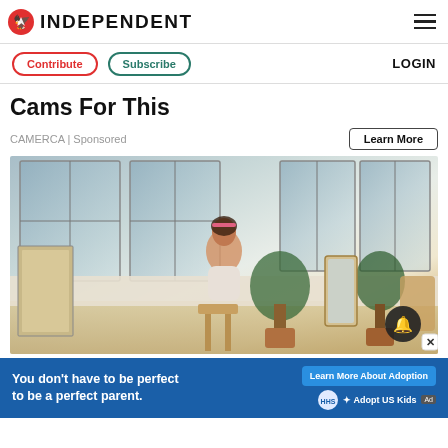INDEPENDENT
Contribute  Subscribe  LOGIN
Cams For This
CAMERCA | Sponsored
Learn More
[Figure (photo): Woman with curly hair and pink headband sitting in a bright loft-style room with large windows, plants, art frames, and modern furniture, working on something at a wooden chair/stool.]
You don't have to be perfect to be a perfect parent.  Learn More About Adoption  Adopt US Kids